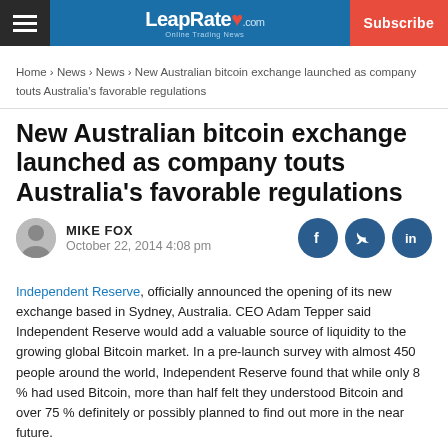LeapRate.com — Subscribe
Home › News › News › New Australian bitcoin exchange launched as company touts Australia's favorable regulations
New Australian bitcoin exchange launched as company touts Australia's favorable regulations
MIKE FOX
October 22, 2014 4:08 pm
Independent Reserve, officially announced the opening of its new exchange based in Sydney, Australia. CEO Adam Tepper said Independent Reserve would add a valuable source of liquidity to the growing global Bitcoin market. In a pre-launch survey with almost 450 people around the world, Independent Reserve found that while only 8 % had used Bitcoin, more than half felt they understood Bitcoin and over 75 % definitely or possibly planned to find out more in the near future.